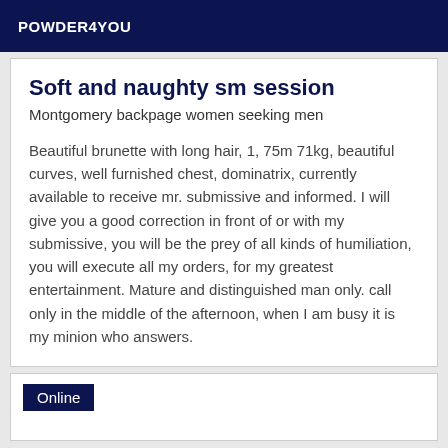POWDER4YOU
Soft and naughty sm session
Montgomery backpage women seeking men
Beautiful brunette with long hair, 1, 75m 71kg, beautiful curves, well furnished chest, dominatrix, currently available to receive mr. submissive and informed. I will give you a good correction in front of or with my submissive, you will be the prey of all kinds of humiliation, you will execute all my orders, for my greatest entertainment. Mature and distinguished man only. call only in the middle of the afternoon, when I am busy it is my minion who answers.
Online